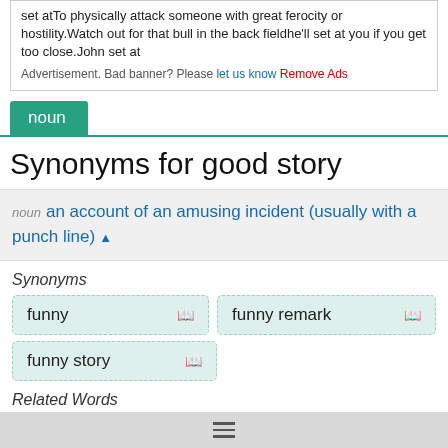set atTo physically attack someone with great ferocity or hostility.Watch out for that bull in the back fieldhe'll set at you if you get too close.John set at
Advertisement. Bad banner? Please let us know Remove Ads
noun
Synonyms for good story
noun an account of an amusing incident (usually with a punch line) ▲
Synonyms
funny
funny remark
funny story
Related Words
gag
je...